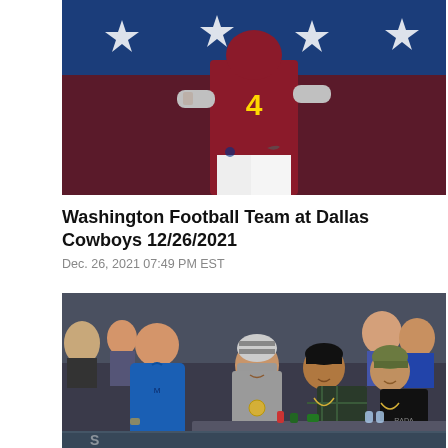[Figure (photo): Washington Football Team player wearing number 4 jersey in burgundy and gold uniform, photographed from behind/side, against a blue background with white stars (AT&T Stadium interior)]
Washington Football Team at Dallas Cowboys 12/26/2021
Dec. 26, 2021 07:49 PM EST
[Figure (photo): Group of people sitting courtside at a basketball game, including a man in a blue Dallas Mavericks pullover standing in foreground, and three young men seated smiling, one wearing a striped beanie, others in dark winter hats and casual wear]